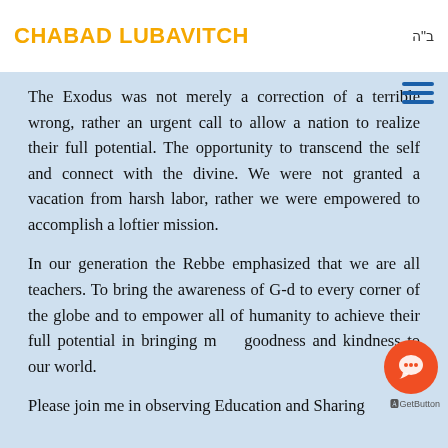CHABAD LUBAVITCH | ב"ה
The Exodus was not merely a correction of a terrible wrong, rather an urgent call to allow a nation to realize their full potential. The opportunity to transcend the self and connect with the divine. We were not granted a vacation from harsh labor, rather we were empowered to accomplish a loftier mission.
In our generation the Rebbe emphasized that we are all teachers. To bring the awareness of G-d to every corner of the globe and to empower all of humanity to achieve their full potential in bringing more goodness and kindness to our world.
Please join me in observing Education and Sharing